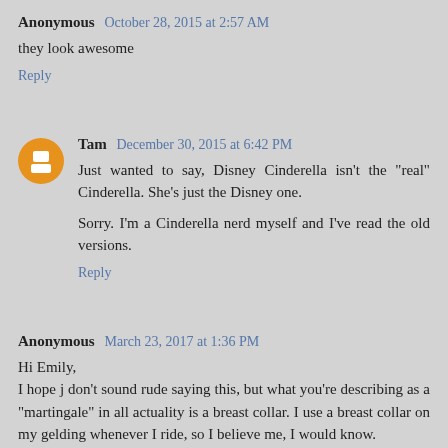Anonymous October 28, 2015 at 2:57 AM
they look awesome
Reply
Tam December 30, 2015 at 6:42 PM
Just wanted to say, Disney Cinderella isn't the "real" Cinderella. She's just the Disney one.
Sorry. I'm a Cinderella nerd myself and I've read the old versions.
Reply
Anonymous March 23, 2017 at 1:36 PM
Hi Emily,
I hope j don't sound rude saying this, but what you're describing as a "martingale" in all actuality is a breast collar. I use a breast collar on my gelding whenever I ride, so I believe me, I would know.